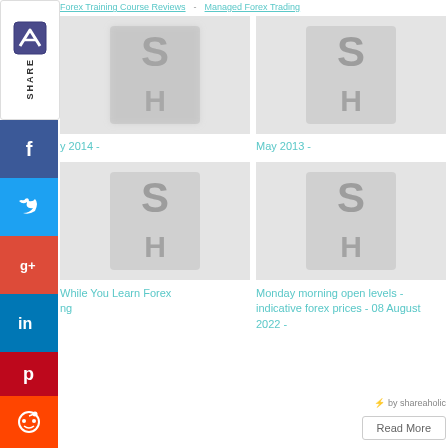Forex Training Course Reviews - Managed Forex Trading
[Figure (screenshot): Blurred logo image top-left article]
[Figure (screenshot): Blurred logo image top-right article]
May 2014 -
May 2013 -
[Figure (screenshot): Blurred logo image bottom-left article]
[Figure (screenshot): Blurred logo image bottom-right article]
While You Learn Forex Trading
Monday morning open levels - indicative forex prices - 08 August 2022 -
by shareaholic
Read More